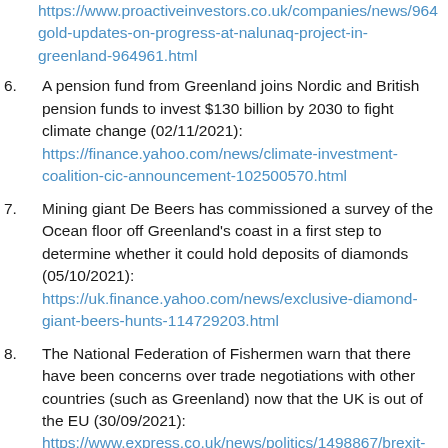https://www.proactiveinvestors.co.uk/companies/news/964gold-updates-on-progress-at-nalunaq-project-in-greenland-964961.html
A pension fund from Greenland joins Nordic and British pension funds to invest $130 billion by 2030 to fight climate change (02/11/2021): https://finance.yahoo.com/news/climate-investment-coalition-cic-announcement-102500570.html
Mining giant De Beers has commissioned a survey of the Ocean floor off Greenland's coast in a first step to determine whether it could hold deposits of diamonds (05/10/2021): https://uk.finance.yahoo.com/news/exclusive-diamond-giant-beers-hunts-114729203.html
The National Federation of Fishermen warn that there have been concerns over trade negotiations with other countries (such as Greenland) now that the UK is out of the EU (30/09/2021): https://www.express.co.uk/news/politics/1498867/brexit-news-fishing-latest-eu-trade-deal-cost-update
Greenland-focused GreenRoc Mining has debuted on the London AIM exchange (27/09/2021):